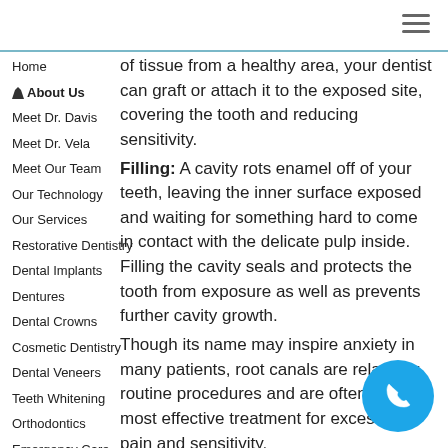Home
About Us
Meet Dr. Davis
Meet Dr. Vela
Meet Our Team
Our Technology
Our Services
Restorative Dentistry
Dental Implants
Dentures
Dental Crowns
Cosmetic Dentistry
Dental Veneers
Teeth Whitening
Orthodontics
Emergency Care
Preventive Care
Kids Dentistry
of tissue from a healthy area, your dentist can graft or attach it to the exposed site, covering the tooth and reducing sensitivity.
Filling: A cavity rots enamel off of your teeth, leaving the inner surface exposed and waiting for something hard to come in contact with the delicate pulp inside. Filling the cavity seals and protects the tooth from exposure as well as prevents further cavity growth.
Root Canal: Though its name may inspire anxiety in many patients, root canals are relatively routine procedures and are often the most effective treatment for excessive pain and sensitivity.
Bruxism is the medical term for teeth grinding, a practice that can wear